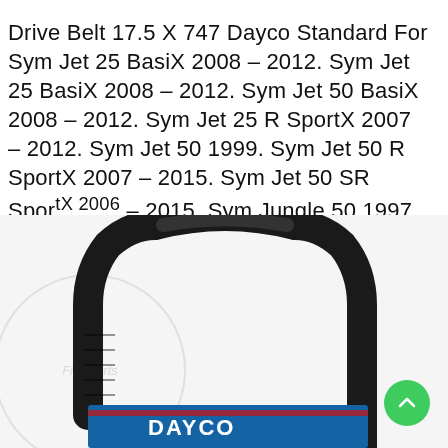Drive Belt 17.5 X 747 Dayco Standard For Sym Jet 25 BasiX 2008 - 2012. Sym Jet 25 BasiX 2008 - 2012. Sym Jet 50 BasiX 2008 - 2012. Sym Jet 25 R SportX 2007 - 2012. Sym Jet 50 1999. Sym Jet 50 R SportX 2007 - 2015. Sym Jet 50 SR SportX 2006 - 2015. Sym Jungle 50 1997 - 2001...
[Figure (photo): Shopping cart / bag icon in a white rounded square card]
[Figure (photo): Photo of a Dayco drive belt (black rubber V-belt with Dayco blue label) shown from above against a white background with FindParts watermark logo]